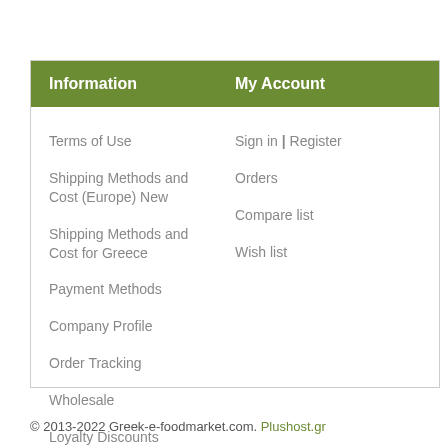Information
My Account
Terms of Use
Shipping Methods and Cost (Europe) New
Shipping Methods and Cost for Greece
Payment Methods
Company Profile
Order Tracking
Wholesale
Loyalty Discounts
Privacy Policy
Sign in | Register
Orders
Compare list
Wish list
© 2013-2022 Greek-e-foodmarket.com. Plushost.gr